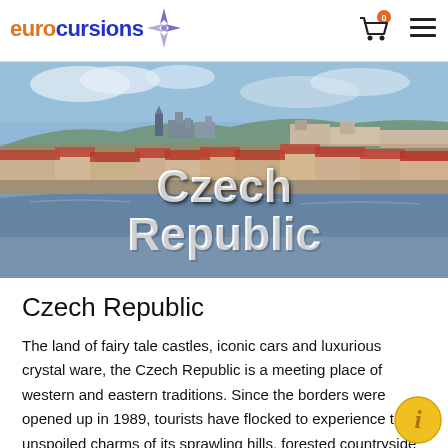eurocursions
[Figure (photo): Panoramic view of Prague, Czech Republic, with red-roofed buildings, a castle on the hill, and a river in the foreground. Text overlay reads 'Czech Republic'.]
Czech Republic
The land of fairy tale castles, iconic cars and luxurious crystal ware, the Czech Republic is a meeting place of western and eastern traditions. Since the borders were opened up in 1989, tourists have flocked to experience the unspoiled charms of its sprawling hills, forested countryside and period architecture. Prague is unarguably the Czech